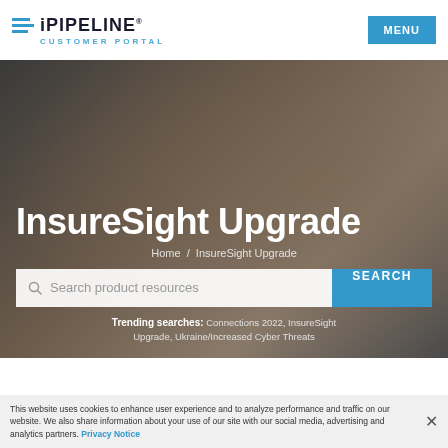iPIPELINE CUSTOMER PORTAL | MENU
InsureSight Upgrade
Home / InsureSight Upgrade
Search product resources
Trending searches: Connections 2022, InsureSight Upgrade, Ukraine/Increased Cyber Threats
This website uses cookies to enhance user experience and to analyze performance and traffic on our website. We also share information about your use of our site with our social media, advertising and analytics partners. Privacy Notice